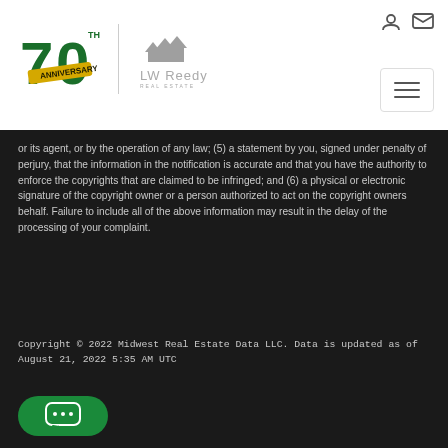[Figure (logo): LW Reedy Real Estate 70th Anniversary logo with house icons]
or its agent, or by the operation of any law; (5) a statement by you, signed under penalty of perjury, that the information in the notification is accurate and that you have the authority to enforce the copyrights that are claimed to be infringed; and (6) a physical or electronic signature of the copyright owner or a person authorized to act on the copyright owners behalf. Failure to include all of the above information may result in the delay of the processing of your complaint.
Copyright © 2022 Midwest Real Estate Data LLC. Data is updated as of August 21, 2022 5:35 AM UTC